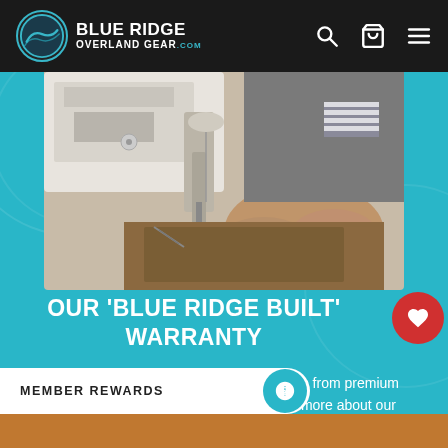Blue Ridge Overland Gear
[Figure (photo): Person using an industrial sewing machine to sew leather/canvas material, wearing a gray t-shirt with American flag graphic]
OUR 'BLUE RIDGE BUILT' WARRANTY
We manufacture rugged storage solutions from premium materials. Made in Virginia, USA. Learn more about our LIFETIME GUARANTEE...
SEE OUR WARRANTY
MEMBER REWARDS